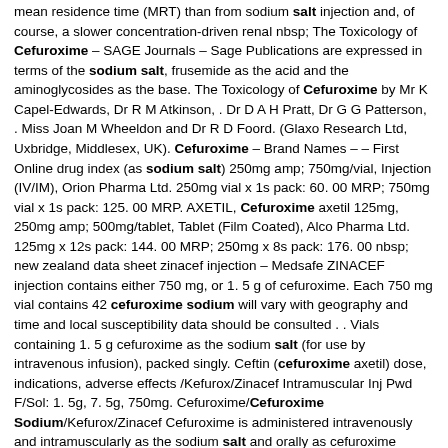mean residence time (MRT) than from sodium salt injection and, of course, a slower concentration-driven renal nbsp; The Toxicology of Cefuroxime – SAGE Journals – Sage Publications are expressed in terms of the sodium salt, frusemide as the acid and the aminoglycosides as the base. The Toxicology of Cefuroxime by Mr K Capel-Edwards, Dr R M Atkinson, . Dr D A H Pratt, Dr G G Patterson, . Miss Joan M Wheeldon and Dr R D Foord. (Glaxo Research Ltd, Uxbridge, Middlesex, UK). Cefuroxime – Brand Names – – First Online drug index (as sodium salt) 250mg amp; 750mg/vial, Injection (IV/IM), Orion Pharma Ltd. 250mg vial x 1s pack: 60. 00 MRP; 750mg vial x 1s pack: 125. 00 MRP. AXETIL, Cefuroxime axetil 125mg, 250mg amp; 500mg/tablet, Tablet (Film Coated), Alco Pharma Ltd. 125mg x 12s pack: 144. 00 MRP; 250mg x 8s pack: 176. 00 nbsp; new zealand data sheet zinacef injection – Medsafe ZINACEF injection contains either 750 mg, or 1. 5 g of cefuroxime. Each 750 mg vial contains 42 cefuroxime sodium will vary with geography and time and local susceptibility data should be consulted . . Vials containing 1. 5 g cefuroxime as the sodium salt (for use by intravenous infusion), packed singly. Ceftin (cefuroxime axetil) dose, indications, adverse effects /Kefurox/Zinacef Intramuscular Inj Pwd F/Sol: 1. 5g, 7. 5g, 750mg. Cefuroxime/Cefuroxime Sodium/Kefurox/Zinacef Cefuroxime is administered intravenously and intramuscularly as the sodium salt and orally as cefuroxime axetil. Approximately 33 50 of the circulating cefuroxime is nbsp; Cefuroxime definition of cefuroxime by Medical dictionary . sef u-rok sēm . a semisynthetic, β-lactamase resistant,